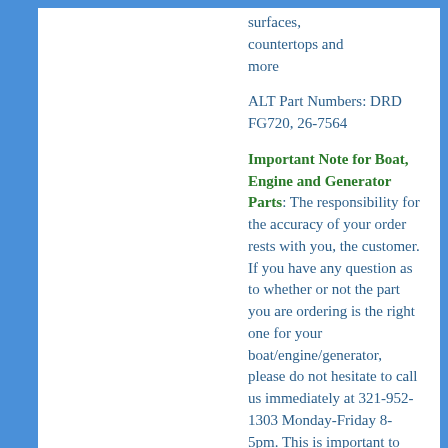surfaces, countertops and more
ALT Part Numbers: DRD FG720, 26-7564
Important Note for Boat, Engine and Generator Parts: The responsibility for the accuracy of your order rests with you, the customer. If you have any question as to whether or not the part you are ordering is the right one for your boat/engine/generator, please do not hesitate to call us immediately at 321-952-1303 Monday-Friday 8-5pm. This is important to save both time and money. Carp